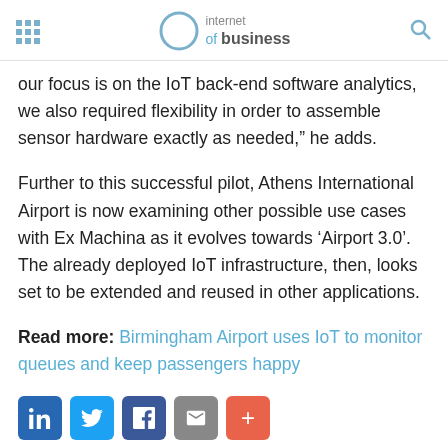internet of business
our focus is on the IoT back-end software analytics, we also required flexibility in order to assemble sensor hardware exactly as needed,” he adds.
Further to this successful pilot, Athens International Airport is now examining other possible use cases with Ex Machina as it evolves towards ‘Airport 3.0’. The already deployed IoT infrastructure, then, looks set to be extended and reused in other applications.
Read more: Birmingham Airport uses IoT to monitor queues and keep passengers happy